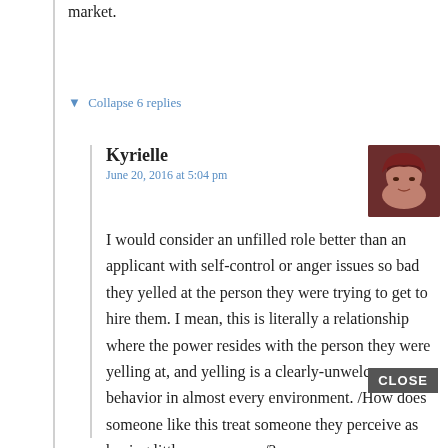market.
▼ Collapse 6 replies
Kyrielle
June 20, 2016 at 5:04 pm
I would consider an unfilled role better than an applicant with self-control or anger issues so bad they yelled at the person they were trying to get to hire them. I mean, this is literally a relationship where the power resides with the person they were yelling at, and yelling is a clearly-unwelcome behavior in almost every environment. /How does someone like this treat someone they perceive as having little or no power/?